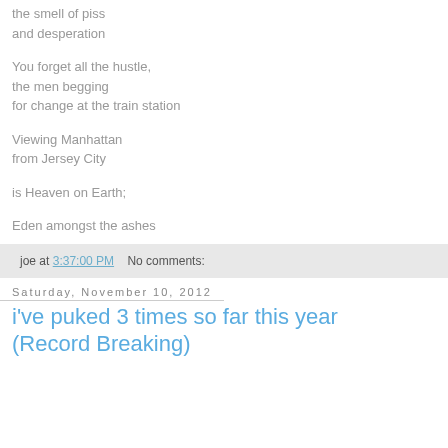the smell of piss
and desperation
You forget all the hustle,
the men begging
for change at the train station
Viewing Manhattan
from Jersey City
is Heaven on Earth;
Eden amongst the ashes
joe at 3:37:00 PM   No comments:
Saturday, November 10, 2012
i've puked 3 times so far this year (Record Breaking)